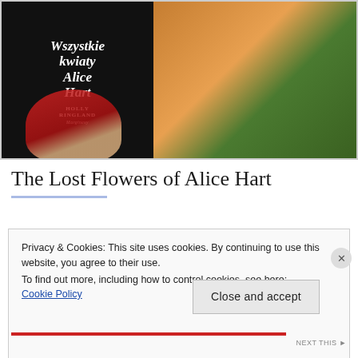[Figure (photo): A person with curly reddish hair wearing an orange jacket and red beret holding a book titled 'Wszystkie kwiaty Alice Hart' by Holly Ringland in front of a green hedge background. Hands with red nails are visible holding the book.]
The Lost Flowers of Alice Hart
Privacy & Cookies: This site uses cookies. By continuing to use this website, you agree to their use.
To find out more, including how to control cookies, see here:
Cookie Policy
Close and accept